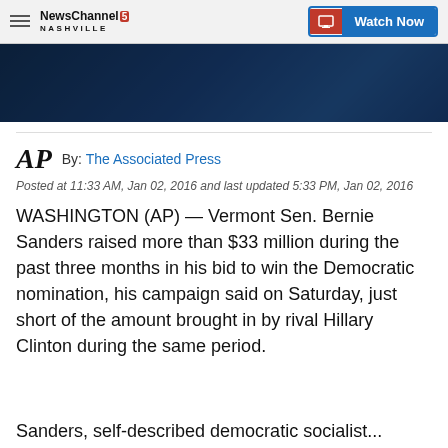NewsChannel 5 Nashville | Watch Now
[Figure (photo): Dark blue-toned photo, partially visible at top of page]
AP  By: The Associated Press
Posted at 11:33 AM, Jan 02, 2016 and last updated 5:33 PM, Jan 02, 2016
WASHINGTON (AP) — Vermont Sen. Bernie Sanders raised more than $33 million during the past three months in his bid to win the Democratic nomination, his campaign said on Saturday, just short of the amount brought in by rival Hillary Clinton during the same period.
Sanders, self-described democratic socialist...